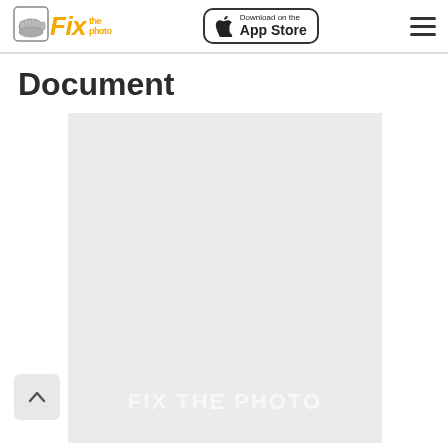Fix the photo — Download on the App Store
Document
[Figure (illustration): Large light gray placeholder image area with watermark text 'FIX THE PHOTO' in white letters at the bottom center]